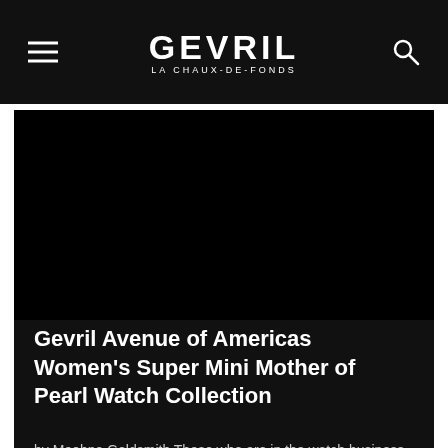GEVRIL LA CHAUX-DE-FONDS
[Figure (photo): Dark/black image area showing a watch or product photo for Gevril Avenue of Americas Women's Super Mini Mother of Pearl Watch Collection]
Gevril Avenue of Americas Women's Super Mini Mother of Pearl Watch Collection
by Meehna Goldsmith Those who are in the watch business or students of horologic history know that Gevril